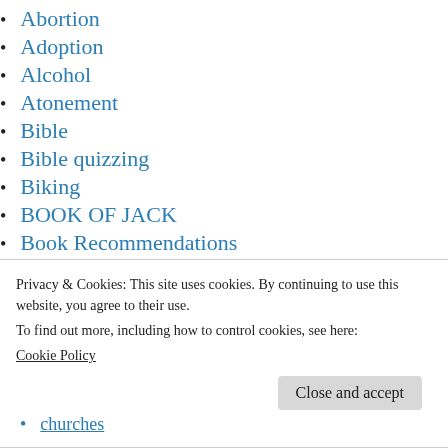Abortion
Adoption
Alcohol
Atonement
Bible
Bible quizzing
Biking
BOOK OF JACK
Book Recommendations
Christian Camp
Privacy & Cookies: This site uses cookies. By continuing to use this website, you agree to their use.
To find out more, including how to control cookies, see here:
Cookie Policy
Churches